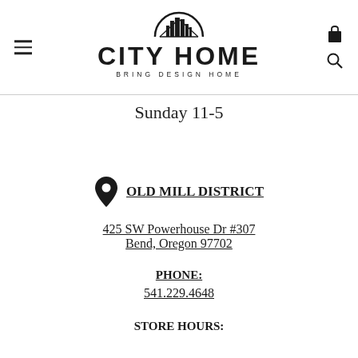[Figure (logo): City Home logo with cityscape silhouette in a semicircle arch, bold text CITY HOME, tagline BRING DESIGN HOME]
Sunday 11-5
OLD MILL DISTRICT
425 SW Powerhouse Dr #307
Bend, Oregon 97702
PHONE:
541.229.4648
STORE HOURS: